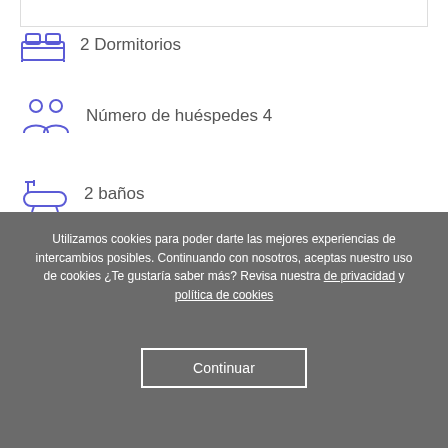2 Dormitorios
Número de huéspedes 4
2 baños
Acerca de nuestra casa
We overlook a white sandy beach with rolling surf and
Utilizamos cookies para poder darte las mejores experiencias de intercambios posibles. Continuando con nosotros, aceptas nuestro uso de cookies ¿Te gustaría saber más? Revisa nuestra de privacidad y política de cookies
Continuar